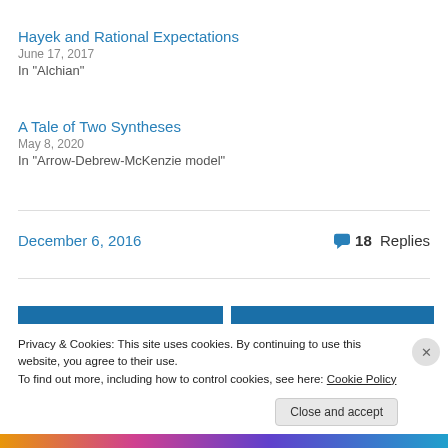Hayek and Rational Expectations
June 17, 2017
In "Alchian"
A Tale of Two Syntheses
May 8, 2020
In "Arrow-Debrew-McKenzie model"
December 6, 2016
18 Replies
Privacy & Cookies: This site uses cookies. By continuing to use this website, you agree to their use. To find out more, including how to control cookies, see here: Cookie Policy
Close and accept